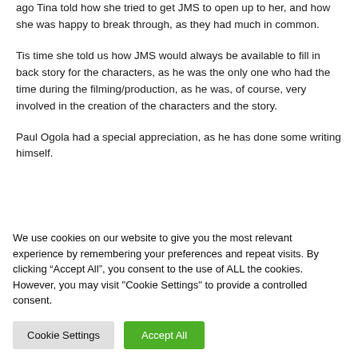ago Tina told how she tried to get JMS to open up to her, and how she was happy to break through, as they had much in common.
Tis time she told us how JMS would always be available to fill in back story for the characters, as he was the only one who had the time during the filming/production, as he was, of course, very involved in the creation of the characters and the story.
Paul Ogola had a special appreciation, as he has done some writing himself.
We use cookies on our website to give you the most relevant experience by remembering your preferences and repeat visits. By clicking “Accept All”, you consent to the use of ALL the cookies. However, you may visit "Cookie Settings" to provide a controlled consent.